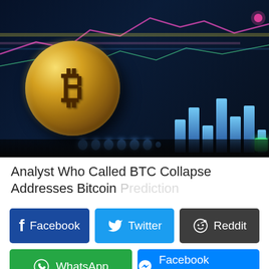[Figure (photo): Bitcoin gold coin in front of a blurred financial trading chart with blue and purple candlestick bars on a dark background]
Analyst Who Called BTC Collapse Addresses Bitcoin Prediction
Facebook | Twitter | Reddit | WhatsApp | Facebook Messenger (social share buttons)